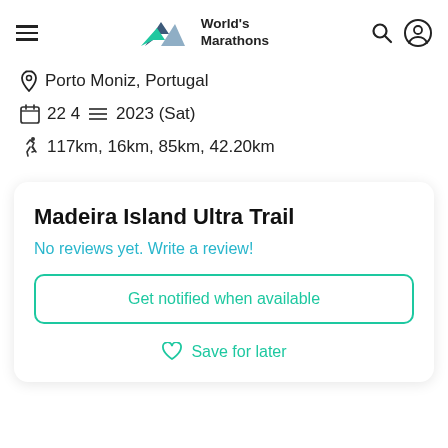World's Marathons
Porto Moniz, Portugal
22 4 2023 (Sat)
117km, 16km, 85km, 42.20km
Madeira Island Ultra Trail
No reviews yet. Write a review!
Get notified when available
Save for later